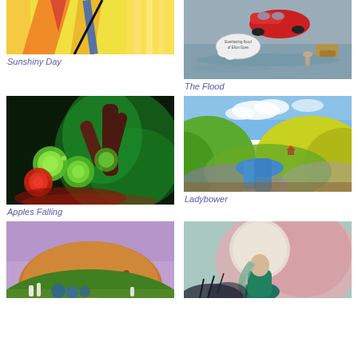[Figure (illustration): Colorful abstract painting with yellow, blue, orange and red diagonal shapes — Sunshiny Day]
Sunshiny Day
[Figure (illustration): Painting of a red car floating above a flooded grey landscape with a cloud reading 'Everlasting flood of Elton Eyes' — The Flood]
The Flood
[Figure (illustration): Dark painting of apples falling from a green swirling tree with red and orange fruit — Apples Falling]
Apples Falling
[Figure (illustration): Colourful landscape painting of Ladybower reservoir with rolling green and yellow hills and blue sky — Ladybower]
Ladybower
[Figure (illustration): Painting of a hill landscape with standing stones in a green field under a purple and blue sky]
[Figure (illustration): Soft pastel painting of a figure with long hair looking at a large pale moon in a pink swirling background]